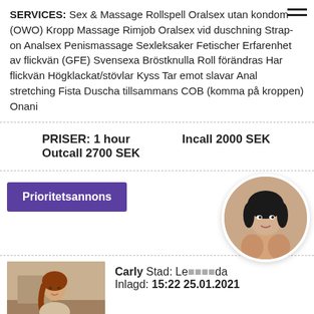SERVICES: Sex & Massage Rollspell Oralsex utan kondom (OWO) Kropp Massage Rimjob Oralsex vid duschning Strap-on Analsex Penismassage Sexleksaker Fetischer Erfarenhet av flickvän (GFE) Svensexa Bröstknulla Roll förändras Har flickvän Högklackat/stövlar Kyss Tar emot slavar Anal stretching Fista Duscha tillsammans COB (komma på kroppen) Onani
PRISER: 1 hour   Incall 2000 SEK
Outcall 2700 SEK
Prioritetsannons
[Figure (photo): Circular cropped profile photo of a woman with dark hair]
[Figure (photo): Thumbnail photo of a woman with red braided hair]
Carly Stad: Levisuda
Inlagd: 15:22 25.01.2021